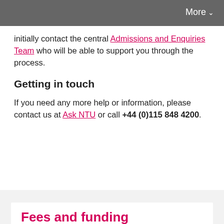More
initially contact the central Admissions and Enquiries Team who will be able to support you through the process.
Getting in touch
If you need any more help or information, please contact us at Ask NTU or call +44 (0)115 848 4200.
Fees and funding